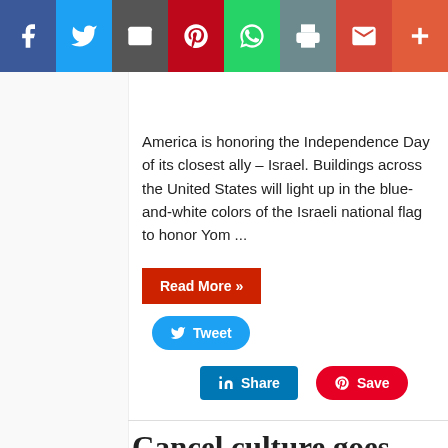[Figure (infographic): Social sharing toolbar with icons: Facebook (blue), Twitter (light blue), Email (gray), Pinterest (red), WhatsApp (green), Print (teal), Gmail (red), More (orange-red)]
America is honoring the Independence Day of its closest ally – Israel. Buildings across the United States will light up in the blue-and-white colors of the Israeli national flag to honor Yom ...
[Figure (infographic): Red 'Read More »' button]
[Figure (infographic): Blue Twitter 'Tweet' button]
[Figure (infographic): LinkedIn 'Share' button and Pinterest 'Save' button]
Cancel culture goes after Lauren Daigle in New Year's Eve celebration